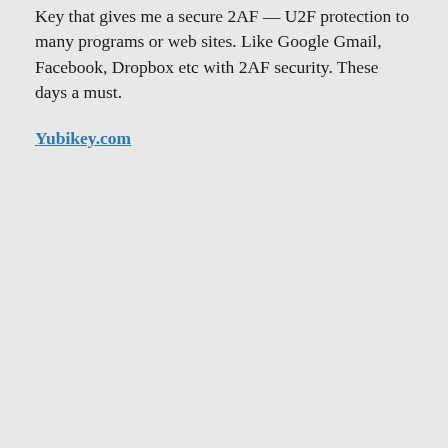Key that gives me a secure 2AF — U2F protection to many programs or web sites. Like Google Gmail, Facebook, Dropbox etc with 2AF security. These days a must.
Yubikey.com